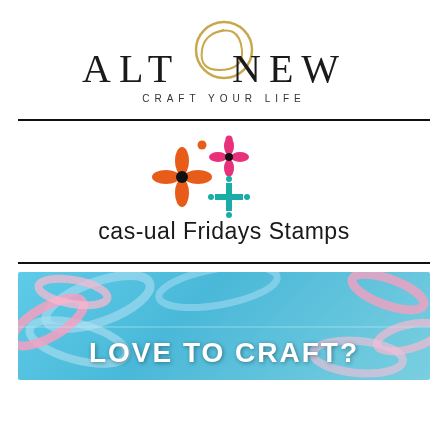[Figure (logo): Altenew logo with decorative swirl, wordmark 'ALTENEW' in spaced serif letters, tagline 'CRAFT YOUR LIFE']
[Figure (logo): CAS-ual Fridays Stamps logo with colorful flower/cross decorative elements in orange, pink, and teal]
[Figure (photo): Photo of pink and blue ribbon curls on a light blue wooden background with text 'LOVE TO CRAFT?' overlaid in white bold letters]